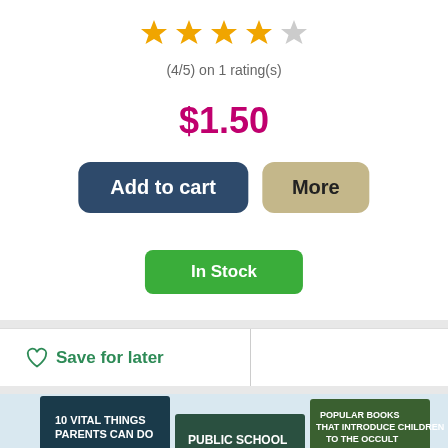[Figure (other): 4 out of 5 stars rating display — four filled gold stars and one empty/gray star]
(4/5) on 1 rating(s)
$1.50
Add to cart
More
In Stock
Save for later
[Figure (photo): Collection of book covers related to parenting and education: '10 Vital Things Parents Can Do to Help Children Keep Their...', 'Public School or Homeschool?', 'Popular Books That Introduce Children to the Occult', 'The Unseen Foe Behind Rising Evil — and Putting on...', and 'A Common Core for...']